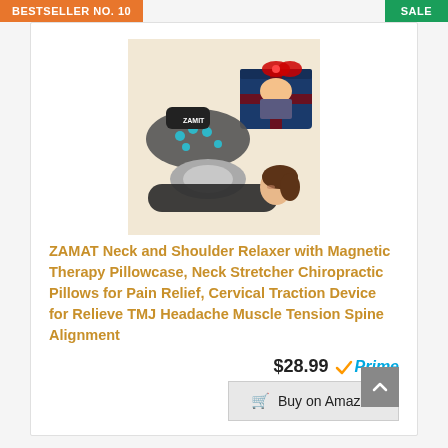BESTSELLER NO. 10
SALE
[Figure (photo): Product photo of ZAMAT neck and shoulder relaxer device with magnetic therapy pillowcase, shown with a woman lying on it and a gift box]
ZAMAT Neck and Shoulder Relaxer with Magnetic Therapy Pillowcase, Neck Stretcher Chiropractic Pillows for Pain Relief, Cervical Traction Device for Relieve TMJ Headache Muscle Tension Spine Alignment
$28.99 Prime
Buy on Amazon